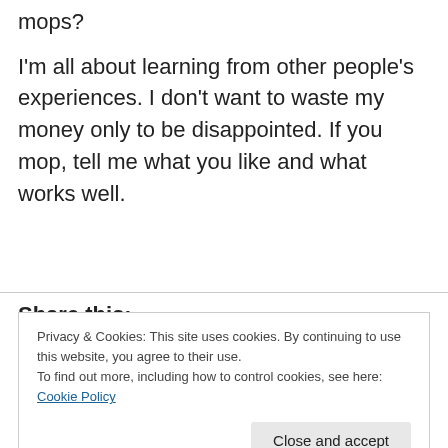mops?
I'm all about learning from other people's experiences. I don't want to waste my money only to be disappointed. If you mop, tell me what you like and what works well.
Share this:
Privacy & Cookies: This site uses cookies. By continuing to use this website, you agree to their use.
To find out more, including how to control cookies, see here: Cookie Policy